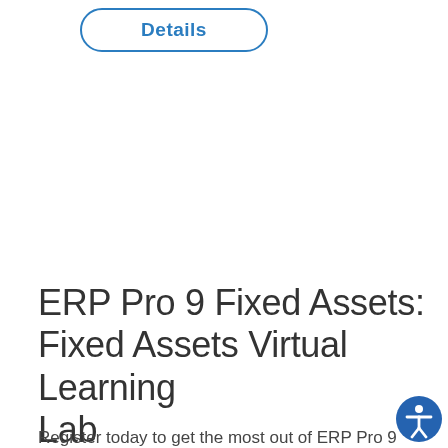[Figure (other): A rounded rectangle button with blue border and blue text reading 'Details']
ERP Pro 9 Fixed Assets: Fixed Assets Virtual Learning Lab
Register today to get the most out of ERP Pro 9